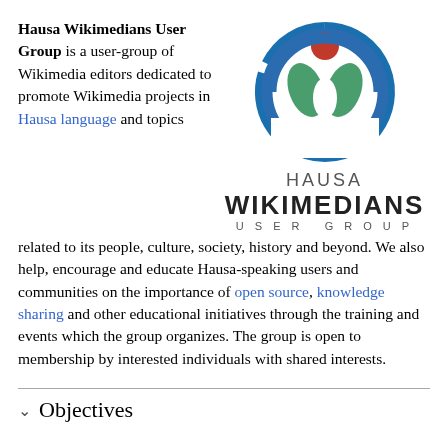Hausa Wikimedians User Group is a user-group of Wikimedia editors dedicated to promote Wikimedia projects in Hausa language and topics related to its people, culture, society, history and beyond. We also help, encourage and educate Hausa-speaking users and communities on the importance of open source, knowledge sharing and other educational initiatives through the training and events which the group organizes. The group is open to membership by interested individuals with shared interests.
[Figure (logo): Hausa Wikimedians User Group logo: circular blue arc with green leaf shapes and a red circle on top, with the text HAUSA WIKIMEDIANS USER GROUP below]
Objectives